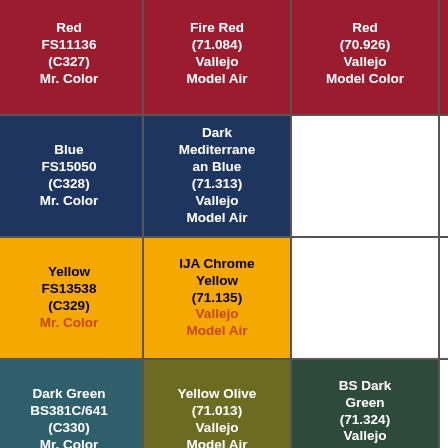| Red FS11136 (C327) Mr. Color | Fire Red (71.084) Vallejo Model Air | Red (70.926) Vallejo Model Color | Heavy Red (72.141) Vallejo Game Color | ... |
| Blue FS15050 (C328) Mr. Color | Dark Mediterranean Blue (71.313) Vallejo Model Air |  |  |  |
| Yellow FS13538 (C329) Mr. Color | IJA Chrome Yellow (71.135) Vallejo Model Air |  |  |  |
| Dark Green BS381C/641 (C330) Mr. Color | Yellow Olive (71.013) Vallejo Model Air | BS Dark Green (71.324) Vallejo Model Air |  |  |